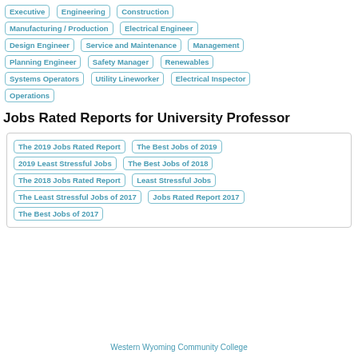Executive
Engineering
Construction
Manufacturing / Production
Electrical Engineer
Design Engineer
Service and Maintenance
Management
Planning Engineer
Safety Manager
Renewables
Systems Operators
Utility Lineworker
Electrical Inspector
Operations
Jobs Rated Reports for University Professor
The 2019 Jobs Rated Report
The Best Jobs of 2019
2019 Least Stressful Jobs
The Best Jobs of 2018
The 2018 Jobs Rated Report
Least Stressful Jobs
The Least Stressful Jobs of 2017
Jobs Rated Report 2017
The Best Jobs of 2017
Western Wyoming Community College